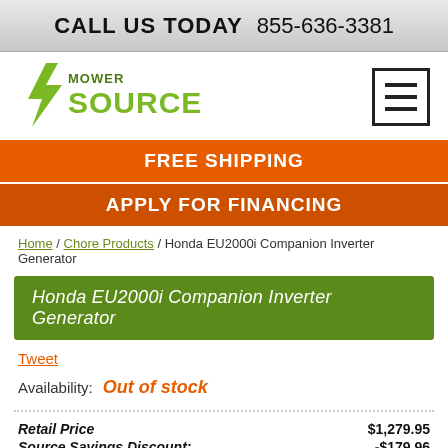CALL US TODAY  855-636-3381
[Figure (logo): Mower Source logo with green lightning bolt and green text]
[Figure (other): Hamburger menu icon — three horizontal lines in a square border]
FREE SHIPPING
APPLY FOR FINANCING
Home / Chore Products / Honda EU2000i Companion Inverter Generator
Honda EU2000i Companion Inverter Generator
Tweet
Availability: Out of stock
| Item | Price |
| --- | --- |
| Retail Price | $1,279.95 |
| Source Savings Discount: | -$179.96 |